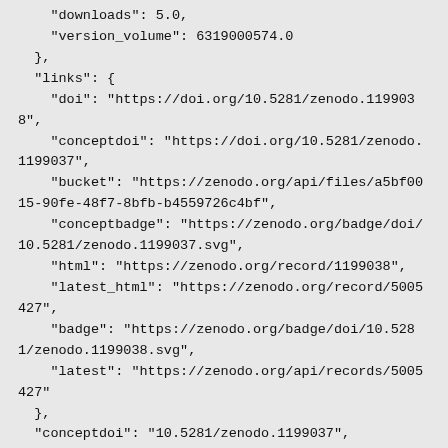"downloads": 5.0,
    "version_volume": 6319000574.0
  },
  "links": {
    "doi": "https://doi.org/10.5281/zenodo.1199038",
    "conceptdoi": "https://doi.org/10.5281/zenodo.1199037",
    "bucket": "https://zenodo.org/api/files/a5bf0015-90fe-48f7-8bfb-b4559726c4bf",
    "conceptbadge": "https://zenodo.org/badge/doi/10.5281/zenodo.1199037.svg",
    "html": "https://zenodo.org/record/1199038",
    "latest_html": "https://zenodo.org/record/5005427",
    "badge": "https://zenodo.org/badge/doi/10.5281/zenodo.1199038.svg",
    "latest": "https://zenodo.org/api/records/5005427"
  },
  "conceptdoi": "10.5281/zenodo.1199037",
  "created": "2018-03-15T09:15:51.010795+00:00",
  "updated": "2021-09-10T19:15:00.607446+00:00",
  "conceptrecid": "1199037",